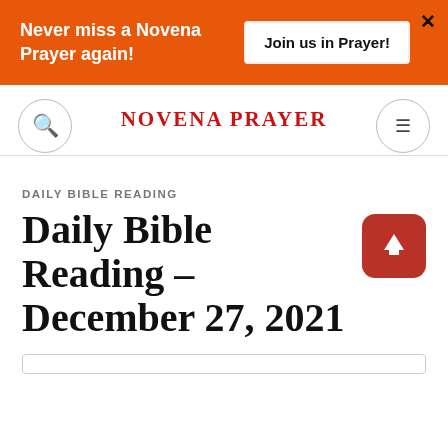Never miss a Novena Prayer again! | Join us in Prayer!
NOVENA PRAYER
DAILY BIBLE READING
Daily Bible Reading – December 27, 2021